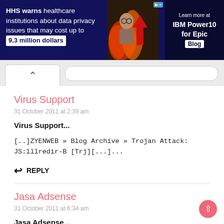[Figure (screenshot): Advertisement banner: dark navy background with text 'HHS warns healthcare institutions about data privacy issues that may cost up to 9.3 million dollars', with a man in glasses and fire/arrow graphics, and IBM Power10 for Epic Blog logo on right]
Virus Support
31 October 2011 at 2:39 am
Virus Support...
[..]ZYENWEB » Blog Archive » Trojan Attack: JS:lllredir-B [Trj][...]...
↩ REPLY
Jasa Adsense
31 October 2011 at 6:34 am
Jasa Adsense...